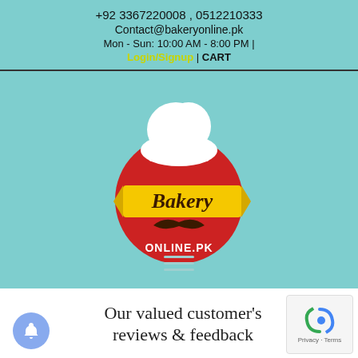+92 3367220008 , 0512210333
Contact@bakeryonline.pk
Mon - Sun: 10:00 AM - 8:00 PM | Login/Signup | CART
[Figure (logo): Bakery Online PK logo: red circle with white chef hat on top, yellow banner across middle reading 'Bakery' in brown text, brown mustache below, 'ONLINE.PK' text at bottom in white on red]
Our valued customer's reviews & feedback